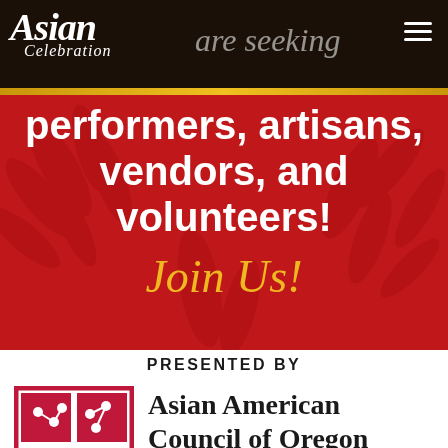Asian Celebration
are seeking performers, artisans, vendors, and volunteers!
Join Us!
PRESENTED BY
[Figure (logo): Asian American Council of Oregon logo - a square divided into four quadrants with pink/red fill and white circular dot patterns]
Asian American Council of Oregon